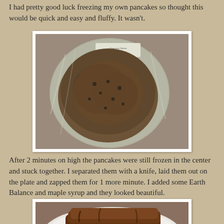I had pretty good luck freezing my own pancakes so thought this would be quick and easy and fluffy. It wasn't.
[Figure (photo): A pancake in plastic wrap packaging, viewed from above, showing the browned surface with syrup, sitting on a countertop]
After 2 minutes on high the pancakes were still frozen in the center and stuck together. I separated them with a knife, laid them out on the plate and zapped them for 1 more minute. I added some Earth Balance and maple syrup and they looked beautiful.
[Figure (photo): Pancakes on a white plate with maple syrup and Earth Balance, looking browned and appetizing]